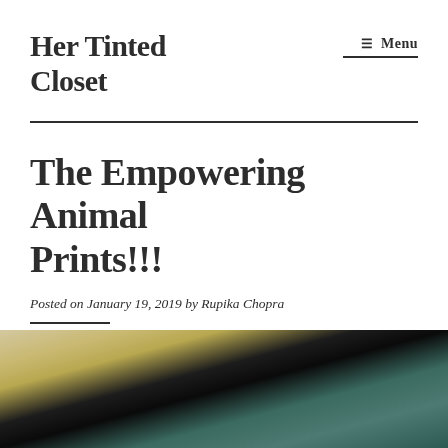Her Tinted Closet
☰ Menu
The Empowering Animal Prints!!!
Posted on January 19, 2019 by Rupika Chopra
[Figure (photo): Partial photo of a person wearing animal print clothing, partially visible at the bottom of the page]